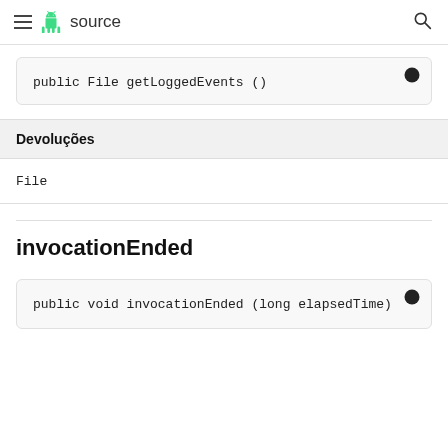≡ android source 🔍
[Figure (screenshot): Code block showing: public File getLoggedEvents ()]
Devoluções
File
invocationEnded
[Figure (screenshot): Code block showing: public void invocationEnded (long elapsedTime)]